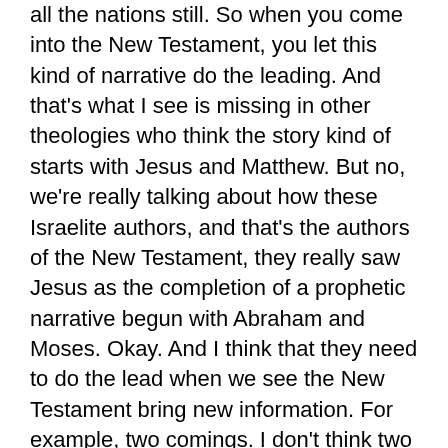all the nations still. So when you come into the New Testament, you let this kind of narrative do the leading. And that's what I see is missing in other theologies who think the story kind of starts with Jesus and Matthew. But no, we're really talking about how these Israelite authors, and that's the authors of the New Testament, they really saw Jesus as the completion of a prophetic narrative begun with Abraham and Moses. Okay. And I think that they need to do the lead when we see the New Testament bring new information. For example, two comings. I don't think two comings of Messiah were seen by the Old Testament folks. They didn't see that, but the New Testament is quite clear, that's the reality. Okay? How do we deal with this? How do we deal with this new reality?
Well, we take the lead from the unfolding script that's been developed in the cannon up to this point and I think it can be demonstrated very clearly that all the writers of the new Testament operate from an old Testament script and they fit two comings of Jesus still into that. So when Jesus comes, when the church has a witness mandate, I want to go back to the prophets and say, how did they help me understand what this means? Rather than exclude them and say, oh, we know